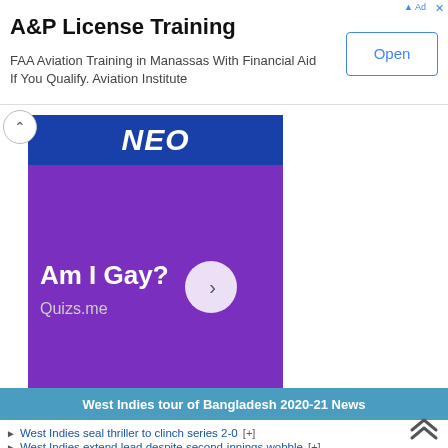[Figure (screenshot): Advertisement banner for A&P License Training. Title: 'A&P License Training'. Body: 'FAA Aviation Training in Manassas With Financial Aid If You Qualify. Aviation Institute'. Open button on right.]
[Figure (photo): Purple advertisement card for Quizs.me quiz titled 'Am I Gay?' with blue NEO header, white circular arrow button, and gray subtitle 'Quizs.me'. Collapse chevron on top-left.]
West Indies tour of Bangladesh 2020-21 News
West Indies seal thriller to clinch series 2-0 [+]
West Indies extend lead despite second-innings wobble [+]
Bangladesh top order collapse after West Indies post 409 [+]
First day even after Bonner hits half-century [+]
Debutants Mayer and Bonner stun Bangladesh in 1st Test [+]
Mehidy dent West Indies chase 395-run chase [+]
Spinners put Bangladesh ahead despite late batting stutter [+]